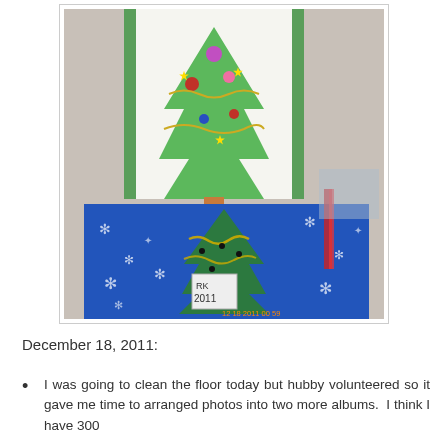[Figure (photo): A photograph dated 12/18/2011 showing Christmas-themed gift items including a hand-decorated bag with a drawn Christmas tree adorned with colorful gems and stars, and a blue snowflake-patterned bag with a green fabric Christmas tree decoration with gold tinsel.]
December 18, 2011:
I was going to clean the floor today but hubby volunteered so it gave me time to arranged photos into two more albums.  I think I have 300